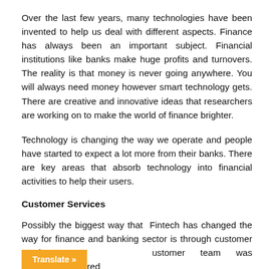Over the last few years, many technologies have been invented to help us deal with different aspects. Finance has always been an important subject. Financial institutions like banks make huge profits and turnovers. The reality is that money is never going anywhere. You will always need money however smart technology gets. There are creative and innovative ideas that researchers are working on to make the world of finance brighter.
Technology is changing the way we operate and people have started to expect a lot more from their banks. There are key areas that absorb technology into financial activities to help their users.
Customer Services
Possibly the biggest way that Fintech has changed the way for finance and banking sector is through customer services. P...ustomer team was essentially required